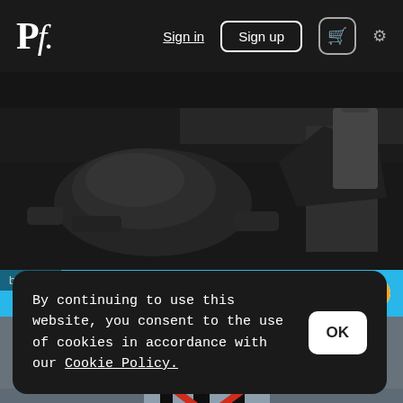Pf. | Sign in | Sign up | cart | settings
[Figure (photo): Black and white photo of coal or rocks on the ground with machinery]
by Brian
$21.48
[Figure (photo): Photo of a red metal lattice tower/antenna structure against a grey sky]
By continuing to use this website, you consent to the use of cookies in accordance with our Cookie Policy.